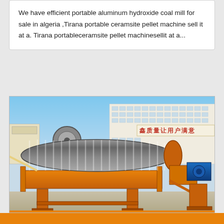We have efficient portable aluminum hydroxide coal mill for sale in algeria ,Tirana portable ceramsite pellet machine sell it at a. Tirana portableceramsite pellet machinesellit at a...
[Figure (photo): Photograph of a large orange industrial drum magnetic separator machine with ribbed cylindrical roller, mounted on an orange steel frame with legs, motor attached on right side, electric motor visible, set outdoors in a factory yard with a large industrial building in the background displaying Chinese characters on a banner.]